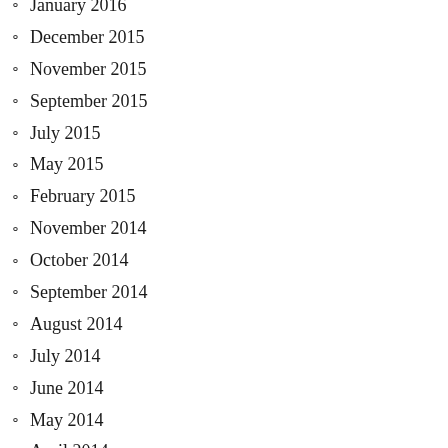January 2016
December 2015
November 2015
September 2015
July 2015
May 2015
February 2015
November 2014
October 2014
September 2014
August 2014
July 2014
June 2014
May 2014
April 2014
March 2014